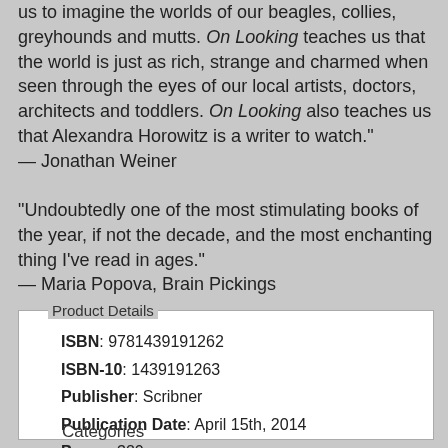us to imagine the worlds of our beagles, collies, greyhounds and mutts. On Looking teaches us that the world is just as rich, strange and charmed when seen through the eyes of our local artists, doctors, architects and toddlers. On Looking also teaches us that Alexandra Horowitz is a writer to watch." — Jonathan Weiner
"Undoubtedly one of the most stimulating books of the year, if not the decade, and the most enchanting thing I've read in ages." — Maria Popova, Brain Pickings
| Field | Value |
| --- | --- |
| ISBN | 9781439191262 |
| ISBN-10 | 1439191263 |
| Publisher | Scribner |
| Publication Date | April 15th, 2014 |
| Pages | 320 |
| Language | English |
Categories